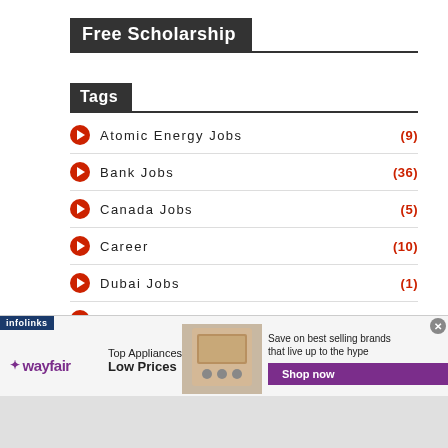Free Scholarship
Tags
Atomic Energy Jobs (9)
Bank Jobs (36)
Canada Jobs (5)
Career (10)
Dubai Jobs (1)
Free Internet (1)
[Figure (other): Wayfair advertisement banner showing top appliances low prices with shop now button]